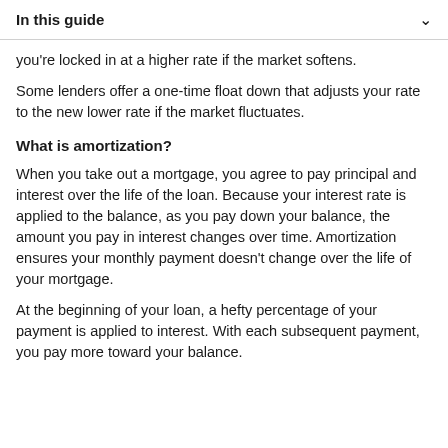In this guide
you're locked in at a higher rate if the market softens.
Some lenders offer a one-time float down that adjusts your rate to the new lower rate if the market fluctuates.
What is amortization?
When you take out a mortgage, you agree to pay principal and interest over the life of the loan. Because your interest rate is applied to the balance, as you pay down your balance, the amount you pay in interest changes over time. Amortization ensures your monthly payment doesn't change over the life of your mortgage.
At the beginning of your loan, a hefty percentage of your payment is applied to interest. With each subsequent payment, you pay more toward your balance.